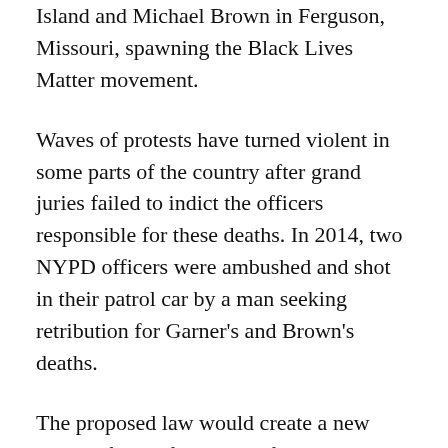Island and Michael Brown in Ferguson, Missouri, spawning the Black Lives Matter movement.
Waves of protests have turned violent in some parts of the country after grand juries failed to indict the officers responsible for these deaths. In 2014, two NYPD officers were ambushed and shot in their patrol car by a man seeking retribution for Garner’s and Brown’s deaths.
The proposed law would create a new class D felony for purposefully inciting violence against a police officer.
“We will not tolerate the senseless and cowardly acts of violence against our police officers as they put their lives on the line every day to protect us,” said Nozzolio, who now chairs the Codes